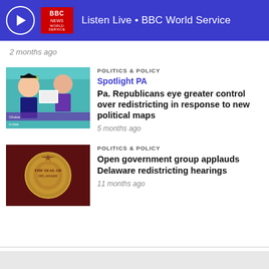Listen Live • BBC World Service
2 months ago
[Figure (photo): People at a rally holding signs, one person wearing graduation cap and gown]
POLITICS & POLICY
Spotlight PA
Pa. Republicans eye greater control over redistricting in response to new political maps
5 months ago
[Figure (photo): Bronze seal of the state of Delaware on dark red background]
POLITICS & POLICY
Open government group applauds Delaware redistricting hearings
11 months ago